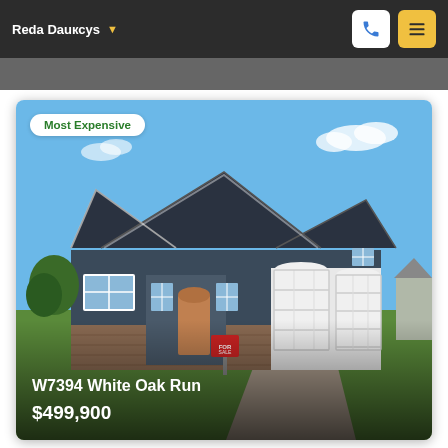Reda Dauксys
[Figure (photo): Exterior photo of a ranch-style home with dark blue-gray siding, peaked rooflines, double white garage doors, brick lower facade, green lawn, and a for-sale sign in front. Blue sky with a few clouds.]
Most Expensive
W7394 White Oak Run
$499,900